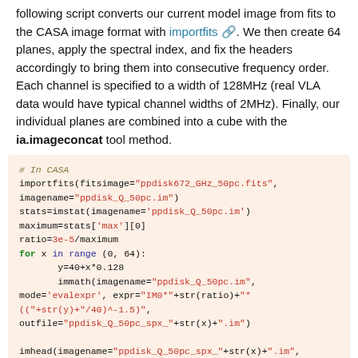following script converts our current model image from fits to the CASA image format with importfits. We then create 64 planes, apply the spectral index, and fix the headers accordingly to bring them into consecutive frequency order. Each channel is specified to a width of 128MHz (real VLA data would have typical channel widths of 2MHz). Finally, our individual planes are combined into a cube with the ia.imageconcat tool method.
[Figure (screenshot): Python/CASA code block showing importfits, imstat, immath loop, imhead calls, and ia.imageconcat commands for creating a spectral cube]